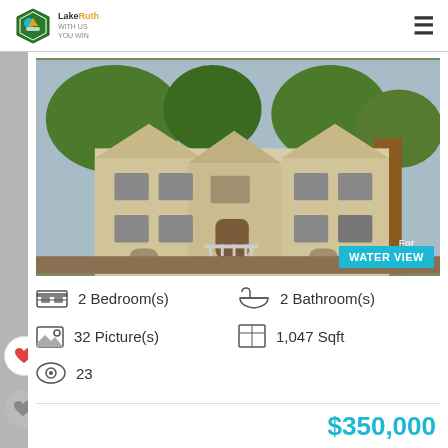Lake Realty - navigation header with logo and menu
[Figure (photo): Exterior photo of a two-story beige/cream condominium building with multiple gabled rooflines, windows, balconies, and trees in the foreground. A 'For Sale' sign is partially visible. A 'WATER VIEW' badge is overlaid in cyan/teal in the bottom right corner.]
2 Bedroom(s)
2 Bathroom(s)
32 Picture(s)
1,047 Sqft
23
$350,000